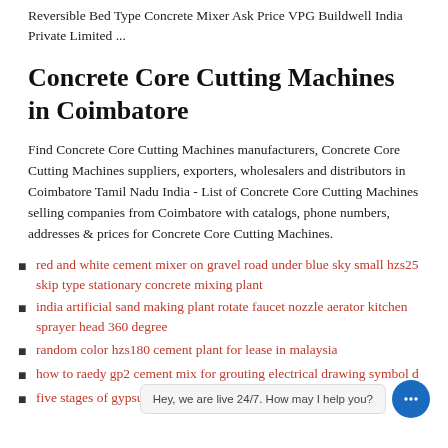Reversible Bed Type Concrete Mixer Ask Price VPG Buildwell India Private Limited ...
Concrete Core Cutting Machines in Coimbatore
Find Concrete Core Cutting Machines manufacturers, Concrete Core Cutting Machines suppliers, exporters, wholesalers and distributors in Coimbatore Tamil Nadu India - List of Concrete Core Cutting Machines selling companies from Coimbatore with catalogs, phone numbers, addresses & prices for Concrete Core Cutting Machines.
red and white cement mixer on gravel road under blue sky small hzs25 skip type stationary concrete mixing plant
india artificial sand making plant rotate faucet nozzle aerator kitchen sprayer head 360 degree
random color hzs180 cement plant for lease in malaysia
how to raedy gp2 cement mix for grouting electrical drawing symbol d...
five stages of gypsum production process 60 120m3 h